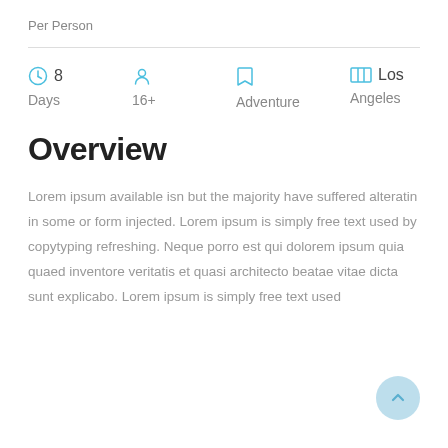Per Person
[Figure (infographic): Four icon-label pairs in a row: clock icon with '8 Days', person icon with '16+', bookmark icon with 'Adventure', map icon with 'Los Angeles']
Overview
Lorem ipsum available isn but the majority have suffered alteratin in some or form injected. Lorem ipsum is simply free text used by copytyping refreshing. Neque porro est qui dolorem ipsum quia quaed inventore veritatis et quasi architecto beatae vitae dicta sunt explicabo. Lorem ipsum is simply free text used